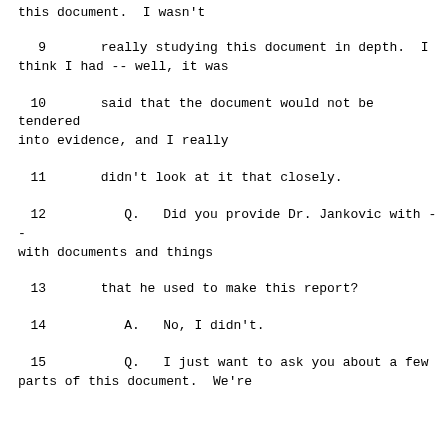this document.  I wasn't
9      really studying this document in depth.  I think I had -- well, it was
10      said that the document would not be tendered into evidence, and I really
11      didn't look at it that closely.
12         Q.   Did you provide Dr. Jankovic with -- with documents and things
13      that he used to make this report?
14         A.   No, I didn't.
15         Q.   I just want to ask you about a few parts of this document.  We're